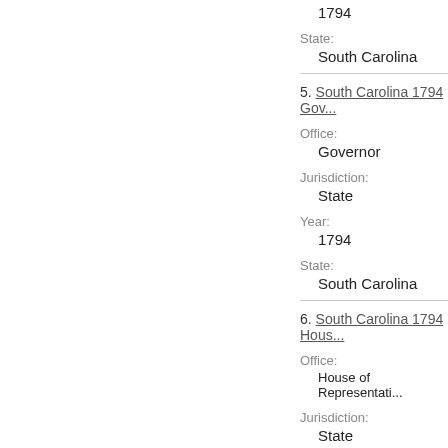1794
State:
South Carolina
5. South Carolina 1794 Gov...
Office:
Governor
Jurisdiction:
State
Year:
1794
State:
South Carolina
6. South Carolina 1794 Hous...
Office:
House of Representatives
Jurisdiction:
State